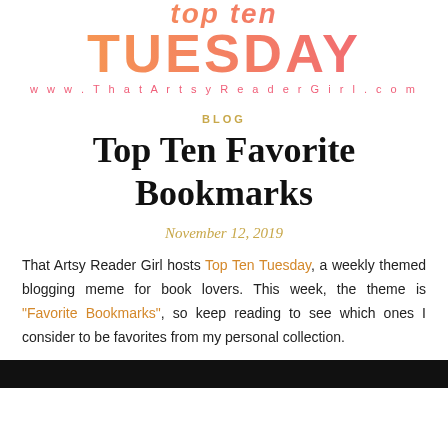[Figure (logo): Top Ten Tuesday logo with gradient orange-to-pink text and URL www.ThatArtsyReaderGirl.com]
BLOG
Top Ten Favorite Bookmarks
November 12, 2019
That Artsy Reader Girl hosts Top Ten Tuesday, a weekly themed blogging meme for book lovers. This week, the theme is "Favorite Bookmarks", so keep reading to see which ones I consider to be favorites from my personal collection.
[Figure (photo): Partial photo at bottom of page, dark background with partial imagery visible]